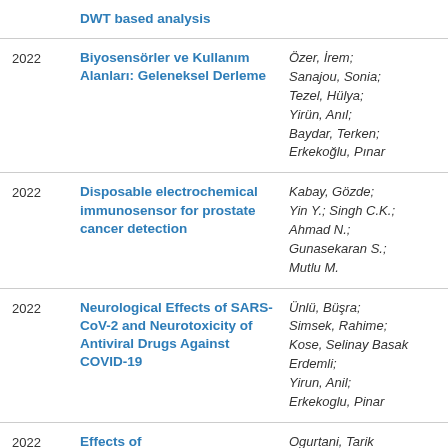| Year | Title | Authors |
| --- | --- | --- |
|  | DWT based analysis |  |
| 2022 | Biyosensörler ve Kullanım Alanları: Geleneksel Derleme | Özer, İrem; Sanajou, Sonia; Tezel, Hülya; Yirün, Anıl; Baydar, Terken; Erkekoğlu, Pınar |
| 2022 | Disposable electrochemical immunosensor for prostate cancer detection | Kabay, Gözde; Yin Y.; Singh C.K.; Ahmad N.; Gunasekaran S.; Mutlu M. |
| 2022 | Neurological Effects of SARS-CoV-2 and Neurotoxicity of Antiviral Drugs Against COVID-19 | Ünlü, Büşra; Simsek, Rahime; Kose, Selinay Basak Erdemli; Yirun, Anil; Erkekoglu, Pinar |
| 2022 | Effects of | Ogurtani, Tarik |